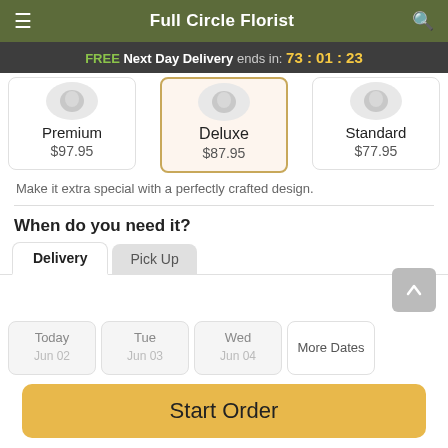Full Circle Florist
FREE Next Day Delivery ends in: 73:01:23
| Premium | Deluxe | Standard |
| --- | --- | --- |
| $97.95 | $87.95 | $77.95 |
Make it extra special with a perfectly crafted design.
When do you need it?
Delivery | Pick Up
Today | Tue | Wed | More Dates
Start Order